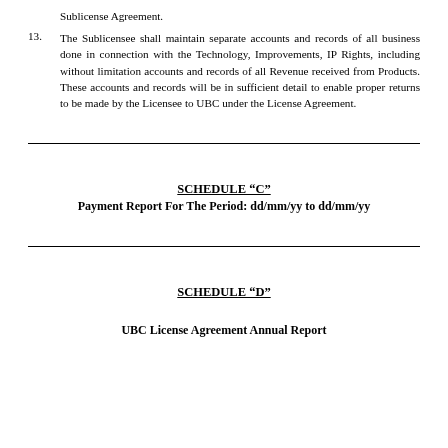Sublicense Agreement.
13.	The Sublicensee shall maintain separate accounts and records of all business done in connection with the Technology, Improvements, IP Rights, including without limitation accounts and records of all Revenue received from Products. These accounts and records will be in sufficient detail to enable proper returns to be made by the Licensee to UBC under the License Agreement.
SCHEDULE “C”
Payment Report For The Period: dd/mm/yy to dd/mm/yy
SCHEDULE “D”
UBC License Agreement Annual Report